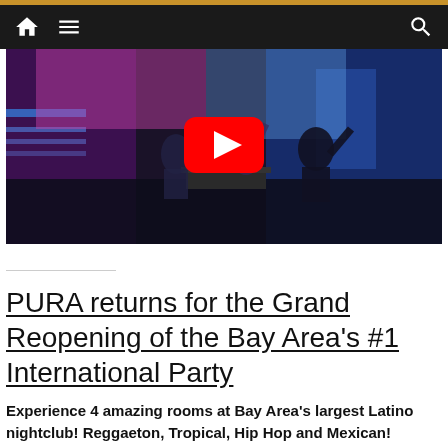Navigation bar with home, menu, and search icons
[Figure (screenshot): YouTube video thumbnail showing a DJ performing at a nightclub with colorful stage lighting. A large red YouTube play button is overlaid in the center.]
PURA returns for the Grand Reopening of the Bay Area's #1 International Party
Experience 4 amazing rooms at Bay Area's largest Latino nightclub! Reggaeton, Tropical, Hip Hop and Mexican!